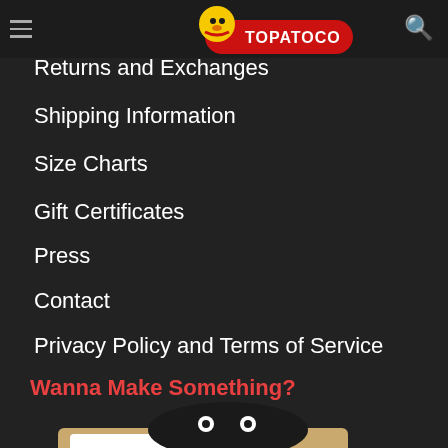Topatoco navigation menu header with hamburger menu and search icon
Returns and Exchanges
Shipping Information
Size Charts
Gift Certificates
Press
Contact
Privacy Policy and Terms of Service
Wanna Make Something?
[Figure (logo): Topato Go logo featuring a cartoon character holding a sign with TOPATO GO text in black and red on a tan/brown background]